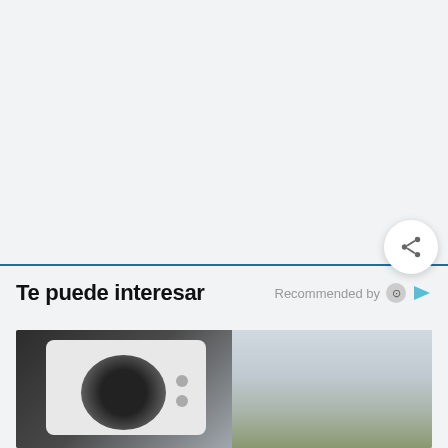[Figure (screenshot): Upper whitish-gray area of a webpage screenshot, mostly empty background]
Te puede interesar
Recommended by
[Figure (photo): Photo of a security camera mounted on a white structure, with trees and outdoor scenery visible in the background]